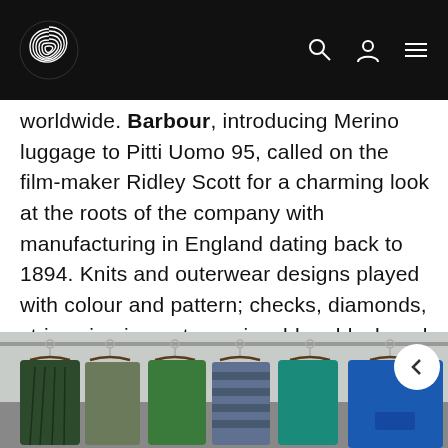Website navigation header with logo, search, account, and menu icons
worldwide. Barbour, introducing Merino luggage to Pitti Uomo 95, called on the film-maker Ridley Scott for a charming look at the roots of the company with manufacturing in England dating back to 1894. Knits and outerwear designs played with colour and pattern; checks, diamonds, stripes in ginger, turquoise, blue, black and white. Drumohr, with colourful knits, suits and substantial overcoats.
[Figure (photo): Clothing hanging on metal hooks and wooden hangers on a rail — knitwear including green cable-knit sweater, striped sweater, blue hoodie and other garments in green, teal and blue tones against a light background.]